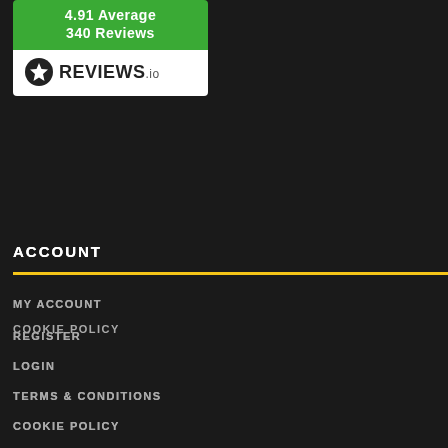[Figure (logo): Reviews.io widget showing 4.91 Average 340 Reviews with star logo]
ACCOUNT
MY ACCOUNT
REGISTER
LOGIN
TERMS & CONDITIONS
COOKIE POLICY
PRIVACY POLICY
CUSTOMER SERVICES
ABOUT US
DELIVERY & RETURNS